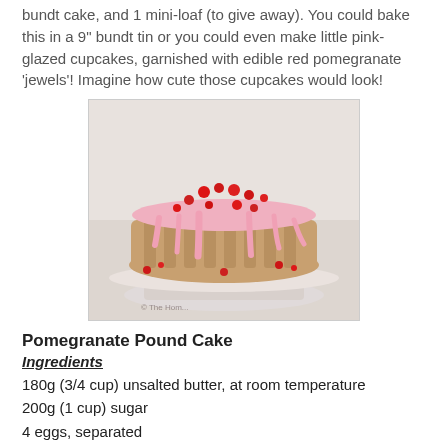bundt cake, and 1 mini-loaf (to give away). You could bake this in a 9" bundt tin or you could even make little pink-glazed cupcakes, garnished with edible red pomegranate 'jewels'! Imagine how cute those cupcakes would look!
[Figure (photo): A pomegranate pound cake with pink glaze dripping down the sides, topped with bright red pomegranate seeds, sitting on a white decorative cake stand.]
Pomegranate Pound Cake
Ingredients
180g (3/4 cup) unsalted butter, at room temperature
200g (1 cup) sugar
4 eggs, separated
1 tsp vanilla
1 tsp lime zest
185g (1 1/2 cup) all-purpose flour